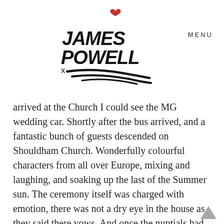JAMES POWELL  MENU
arrived at the Church I could see the MG wedding car. Shortly after the bus arrived, and a fantastic bunch of guests descended on Shouldham Church. Wonderfully colourful characters from all over Europe, mixing and laughing, and soaking up the last of the Summer sun. The ceremony itself was charged with emotion, there was not a dry eye in the house as they said there vows. And once the nuptials had been competed we headed to The Red Barn. This was my first time photographing The Red Barn in Shouldham, and I have to say it really is a smashing place. Set in the glorious Norfolk countryside, it has bags of character and rustic charm. I am so lucky to visit so many stunning wedding venues in Norfolk. The Red Barn has become of my favourite wedding venues. Richard and his